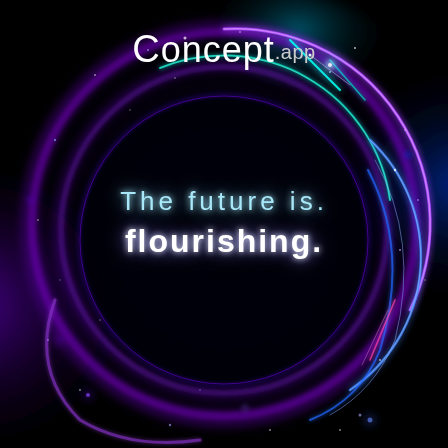[Figure (illustration): Dark background with swirling purple and blue glowing light rings/circles forming a vortex or portal effect with sparkles and bokeh light particles]
Concept.app
The future is flourishing.